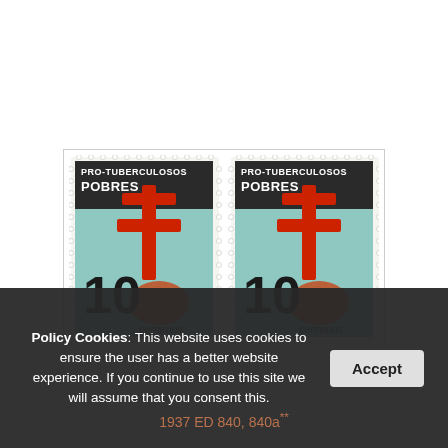[Figure (photo): Two Spanish Pro-Tuberculosis stamps (Pro-Tuberculosos Pobres) showing a red double-barred cross and '10 centimos' denomination on a teal/dark background, side by side.]
Policy Cookies: This website uses cookies to ensure the user has a better website experience. If you continue to use this site we will assume that you consent this.
1937 ED 840, 840a**